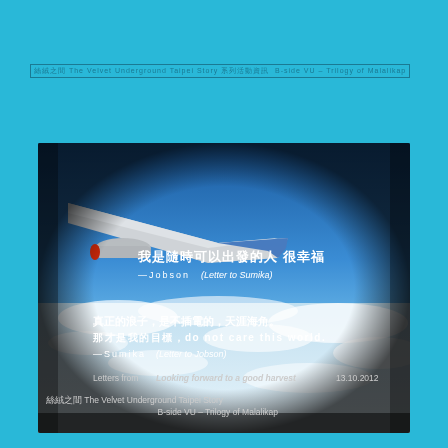絲絨之間 The Velvet Underground Taipei Story 系列活動資訊 B-side VU Trilogy of Malalikap
[Figure (photo): Aerial photograph taken from airplane window showing airplane wing against blue sky with clouds below, with overlaid text quotes in Chinese and English about travel and freedom, attributed to Jobson and Sumika from 'Looking forward to a good harvest' 13.10.2012]
絲絨之間 The Velvet Underground Taipei Story
B-side VU – Trilogy of Malalikap